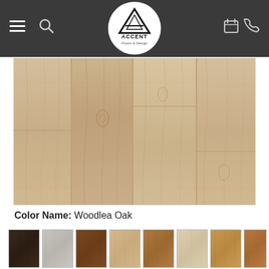[Figure (logo): Accent Floors & Design logo — white circle with triangle 'A' mark and text 'ACCENT Floors & Design']
[Figure (photo): Close-up photograph of light beige/tan oak wood flooring planks with visible grain and knots — color name Woodlea Oak]
Color Name: Woodlea Oak
[Figure (photo): Row of 8 flooring color swatch samples in various wood tones from dark espresso to light honey oak]